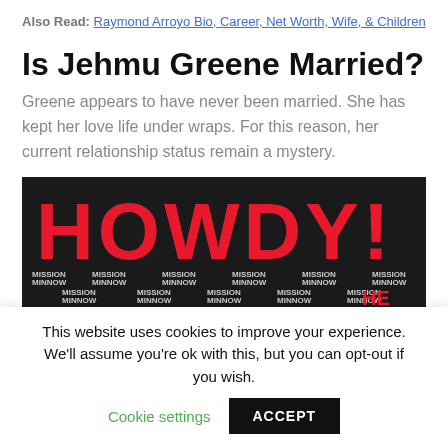Also Read: Raymond Arroyo Bio, Career, Net Worth, Wife, & Children
Is Jehmu Greene Married?
Greene appears to have never been married. She has kept her love life under wraps. For this reason, her current relationship status remain a mystery.
[Figure (photo): Photo showing large text 'HOWDY!' in red letters on dark background, with repeated 'MISSION MINNOW' text pattern below]
This website uses cookies to improve your experience. We'll assume you're ok with this, but you can opt-out if you wish. Cookie settings  ACCEPT